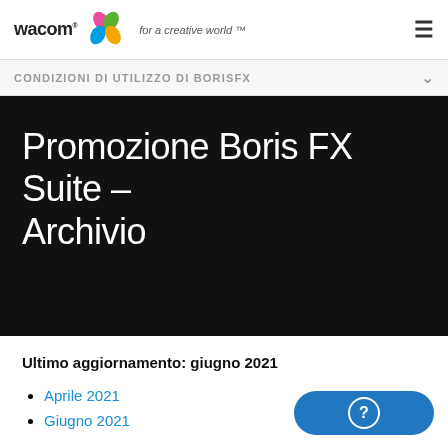wacom for a creative world™
CONDIZIONI DI UTILIZZO DI BORISFX
Promozione Boris FX Suite – Archivio
Ultimo aggiornamento: giugno 2021
Aprile 2021
Giugno 2021